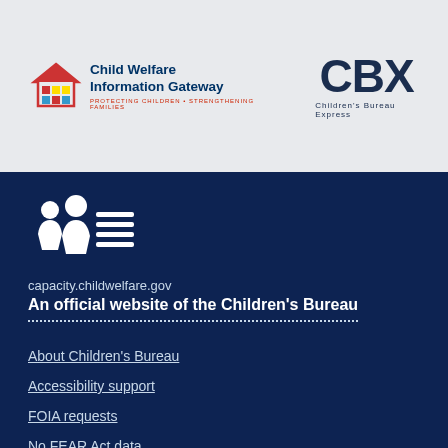[Figure (logo): Child Welfare Information Gateway logo with house icon and colored squares. Text reads: Child Welfare Information Gateway. PROTECTING CHILDREN STRENGTHENING FAMILIES]
[Figure (logo): CBX Children's Bureau Express logo in dark navy blue]
[Figure (logo): Children's Bureau white silhouette logo on dark navy background]
capacity.childwelfare.gov
An official website of the Children's Bureau
About Children's Bureau
Accessibility support
FOIA requests
No FEAR Act data
Office of the Inspector General